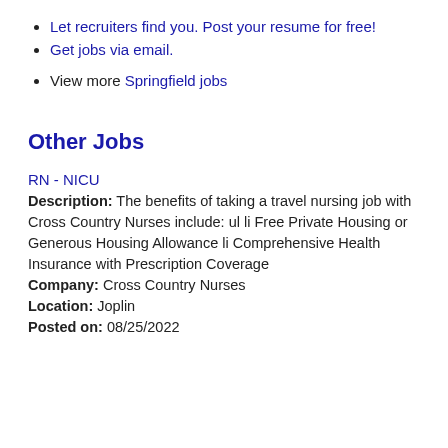Let recruiters find you. Post your resume for free!
Get jobs via email.
View more Springfield jobs
Other Jobs
RN - NICU
Description: The benefits of taking a travel nursing job with Cross Country Nurses include: ul li Free Private Housing or Generous Housing Allowance li Comprehensive Health Insurance with Prescription Coverage
Company: Cross Country Nurses
Location: Joplin
Posted on: 08/25/2022